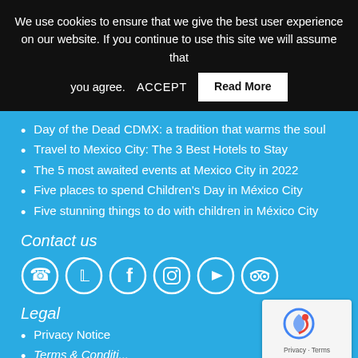We use cookies to ensure that we give the best user experience on our website. If you continue to use this site we will assume that you agree. ACCEPT Read More
Day of the Dead CDMX: a tradition that warms the soul
Travel to Mexico City: The 3 Best Hotels to Stay
The 5 most awaited events at Mexico City in 2022
Five places to spend Children's Day in México City
Five stunning things to do with children in México City
Contact us
[Figure (infographic): Row of social media icon circles: WhatsApp, Twitter, Facebook, Instagram, YouTube, TripAdvisor]
Legal
Privacy Notice
Terms & Conditions